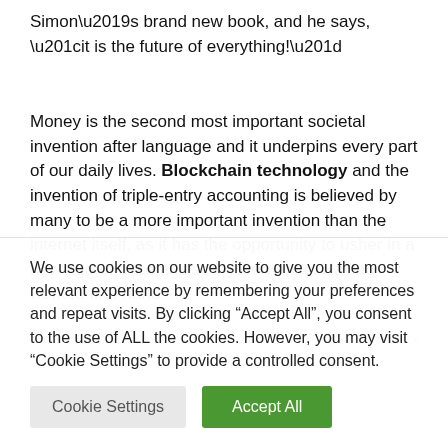Simon's brand new book, and he says, “it is the future of everything!”
Money is the second most important societal invention after language and it underpins every part of our daily lives. Blockchain technology and the invention of triple-entry accounting is believed by many to be a more important invention than the internet itself, as it has the opportunity to usher in a new age of decentralised governance. Having worked first-hand with blockchain technologies since 2011, Simon Dixon...
We use cookies on our website to give you the most relevant experience by remembering your preferences and repeat visits. By clicking “Accept All”, you consent to the use of ALL the cookies. However, you may visit “Cookie Settings” to provide a controlled consent.